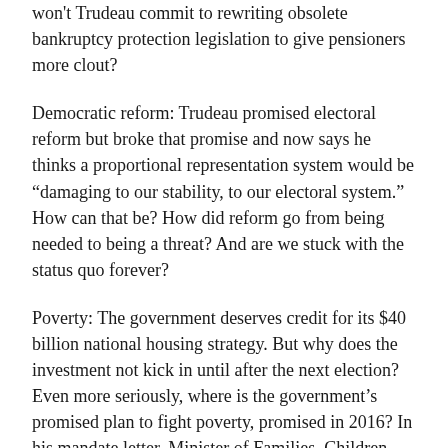won't Trudeau commit to rewriting obsolete bankruptcy protection legislation to give pensioners more clout?
Democratic reform: Trudeau promised electoral reform but broke that promise and now says he thinks a proportional representation system would be “damaging to our stability, to our electoral system.” How can that be? How did reform go from being needed to being a threat? And are we stuck with the status quo forever?
Poverty: The government deserves credit for its $40 billion national housing strategy. But why does the investment not kick in until after the next election? Even more seriously, where is the government’s promised plan to fight poverty, promised in 2016? In his mandate letter, Minister of Families, Children and Social Development Jean-Yves Duclos was given this direction: ‘Lead the development of a Canadian Poverty Reduction Strategy that would set